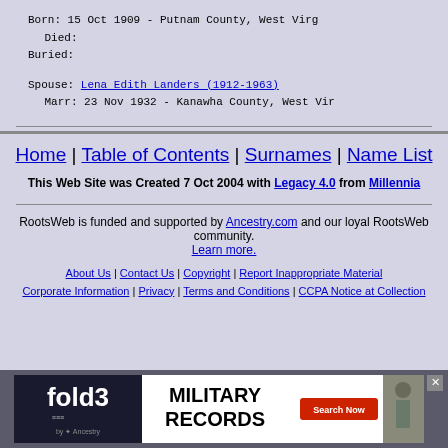Born: 15 Oct 1909 - Putnam County, West Virg...
   Died:
Buried:
Spouse: Lena Edith Landers (1912-1963)
   Marr: 23 Nov 1932 - Kanawha County, West Vir...
Home | Table of Contents | Surnames | Name List
This Web Site was Created 7 Oct 2004 with Legacy 4.0 from Millennia
RootsWeb is funded and supported by Ancestry.com and our loyal RootsWeb community. Learn more.
About Us | Contact Us | Copyright | Report Inappropriate Material
Corporate Information | Privacy | Terms and Conditions | CCPA Notice at Collection
[Figure (infographic): Fold3 military records advertisement banner with logo, 'MILITARY RECORDS' text, Search Now button, and soldier photo]